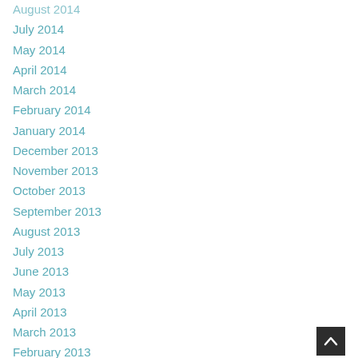August 2014
July 2014
May 2014
April 2014
March 2014
February 2014
January 2014
December 2013
November 2013
October 2013
September 2013
August 2013
July 2013
June 2013
May 2013
April 2013
March 2013
February 2013
January 2013